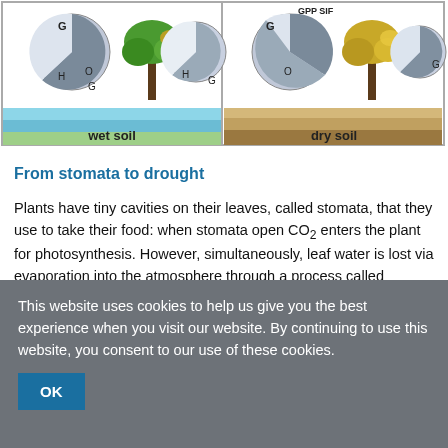[Figure (illustration): Two-panel scientific diagram showing trees with pie charts and labels above wet soil (left) and dry soil (right), illustrating GPP, SIF, and related photosynthesis metrics under different soil moisture conditions.]
From stomata to drought
Plants have tiny cavities on their leaves, called stomata, that they use to take their food: when stomata open CO₂ enters the plant for photosynthesis. However, simultaneously, leaf water is lost via evaporation into the atmosphere through a process called "transpiration".
The total amount of water released into the atmosphere
This website uses cookies to help us give you the best experience when you visit our website. By continuing to use this website, you consent to our use of these cookies.